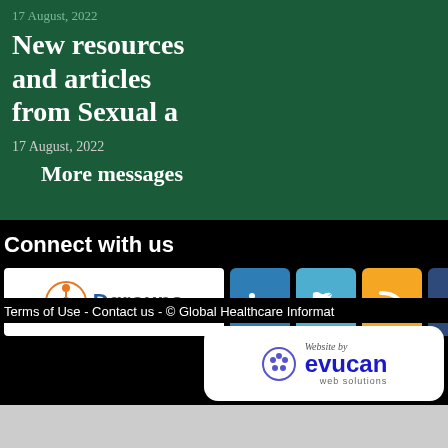17 August, 2022
New resources and articles from Sexual a
17 August, 2022
More messages
Connect with us
[Figure (logo): Dgroups logo with orange circular icon and blue text, LinkedIn icon, Twitter icon, RSS feed icon, Facebook icon]
Terms of Use - Contact us - © Global Healthcare Informat
[Figure (logo): Evucan web solutions logo - white rounded box with purple/blue evucan text and web solutions text]